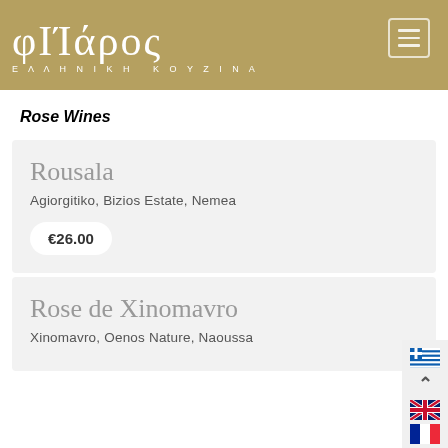[Figure (logo): Filaros Greek Kitchen logo - white text 'φΙΊάρος' with subtitle 'ΕΛΛΗΝΙΚΗ ΚΟΥΖΙΝΑ' on golden/tan background with hamburger menu icon top right]
Rose Wines
Rousala
Agiorgitiko, Bizios Estate, Nemea
€26.00
Rose de Xinomavro
Xinomavro, Oenos Nature, Naoussa